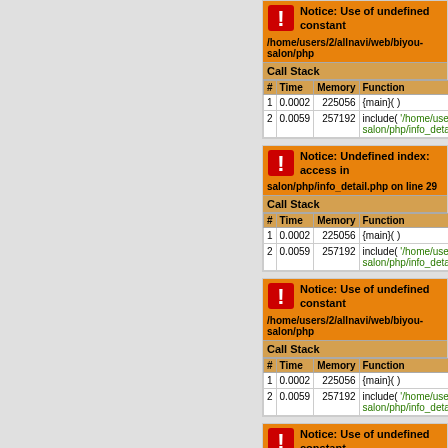[Figure (screenshot): PHP error notice: Use of undefined constant, with call stack table showing # Time Memory Function columns, rows 1 and 2]
[Figure (screenshot): PHP error notice: Undefined index: access in salon/php/info_detail.php on line 29, with call stack table]
[Figure (screenshot): PHP error notice: Use of undefined constant, path /home/users/2/allnavi/web/biyou-salon/php, with call stack table]
[Figure (screenshot): PHP error notice: Use of undefined constant, path /home/users/2/allnavi/web/biyou-salon/php, with call stack header only visible]